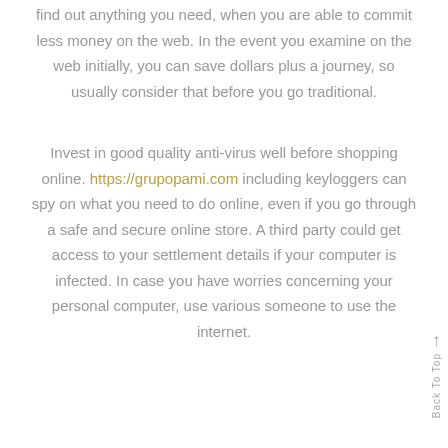find out anything you need, when you are able to commit less money on the web. In the event you examine on the web initially, you can save dollars plus a journey, so usually consider that before you go traditional.
Invest in good quality anti-virus well before shopping online. https://grupopami.com including keyloggers can spy on what you need to do online, even if you go through a safe and secure online store. A third party could get access to your settlement details if your computer is infected. In case you have worries concerning your personal computer, use various someone to use the internet.